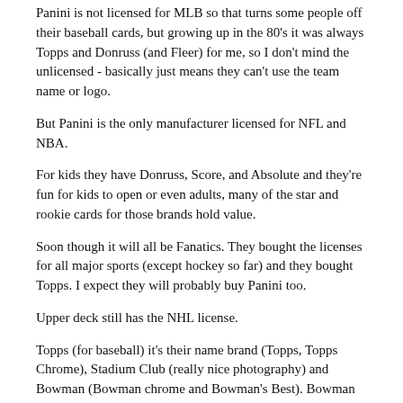Panini is not licensed for MLB so that turns some people off their baseball cards, but growing up in the 80's it was always Topps and Donruss (and Fleer) for me, so I don't mind the unlicensed - basically just means they can't use the team name or logo.
But Panini is the only manufacturer licensed for NFL and NBA.
For kids they have Donruss, Score, and Absolute and they're fun for kids to open or even adults, many of the star and rookie cards for those brands hold value.
Soon though it will all be Fanatics. They bought the licenses for all major sports (except hockey so far) and they bought Topps. I expect they will probably buy Panini too.
Upper deck still has the NHL license.
Topps (for baseball) it's their name brand (Topps, Topps Chrome), Stadium Club (really nice photography) and Bowman (Bowman chrome and Bowman's Best). Bowman is still the "home of the rookie card" so some people like that.